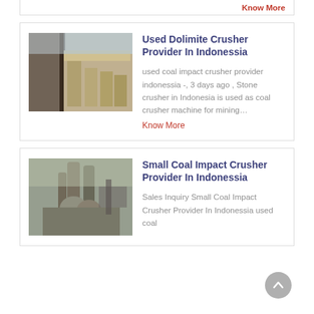Know More
[Figure (photo): Industrial storage or construction site with metal containers and wooden pallets]
Used Dolimite Crusher Provider In Indonessia
used coal impact crusher provider indonessia -, 3 days ago , Stone crusher in Indonesia is used as coal crusher machine for mining…
Know More
[Figure (photo): Industrial facility with silos and dust collection equipment]
Small Coal Impact Crusher Provider In Indonessia
Sales Inquiry Small Coal Impact Crusher Provider In Indonessia used coal